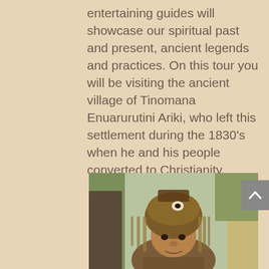entertaining guides will showcase our spiritual past and present, ancient legends and practices. On this tour you will be visiting the ancient village of Tinomana Enuarurutini Ariki, who left this settlement during the 1830's when he and his people converted to Christianity.
[Figure (photo): A man wearing traditional Polynesian/Cook Islands ceremonial headdress and garments made of woven plant fibers and feathers, photographed outdoors with trees and a thatched structure in the background.]